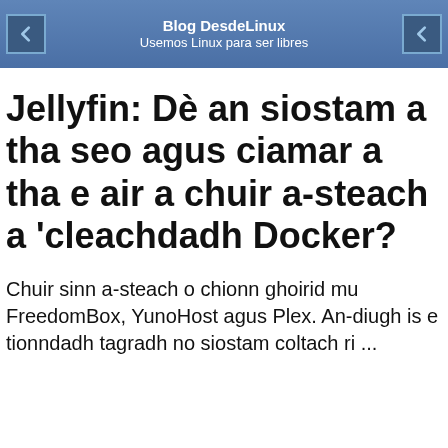Blog DesdeLinux
Usemos Linux para ser libres
Jellyfin: Dè an siostam a tha seo agus ciamar a tha e air a chuir a-steach a 'cleachdadh Docker?
Chuir sinn a-steach o chionn ghoirid mu FreedomBox, YunoHost agus Plex. An-diugh is e tionndadh tagradh no siostam coltach ri ...